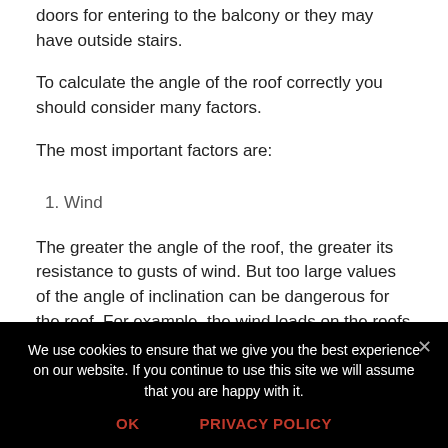doors for entering to the balcony or they may have outside stairs.
To calculate the angle of the roof correctly you should consider many factors.
The most important factors are:
1. Wind
The greater the angle of the roof, the greater its resistance to gusts of wind. But too large values of the angle of inclination can be dangerous for the roof. For example, the wind loads on the roofs with the angle of 45 degrees...
We use cookies to ensure that we give you the best experience on our website. If you continue to use this site we will assume that you are happy with it.
OK   PRIVACY POLICY